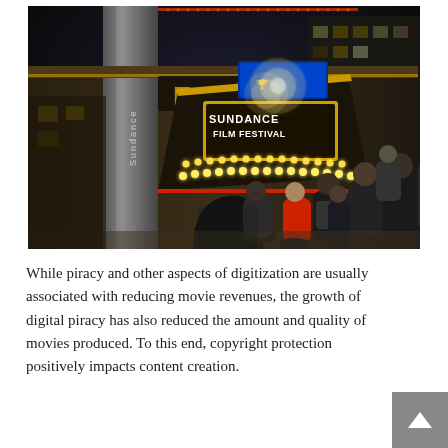[Figure (photo): Nighttime photo of the Sundance Film Festival marquee sign at the Egyptian Theatre. The illuminated sign reads 'SUNDANCE FILM FESTIVAL' with bright marquee lights. People are gathered outside on the sidewalk in winter clothing.]
While piracy and other aspects of digitization are usually associated with reducing movie revenues, the growth of digital piracy has also reduced the amount and quality of movies produced. To this end, copyright protection positively impacts content creation.